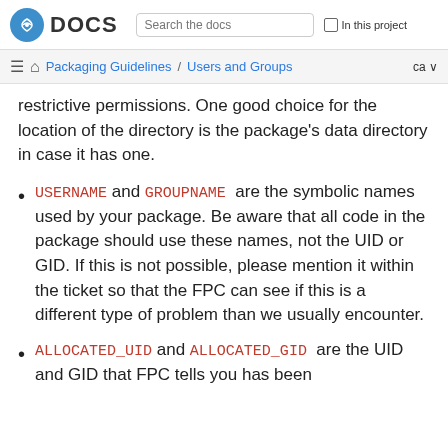Fedora DOCS | Search the docs | In this project
Packaging Guidelines / Users and Groups  ca
restrictive permissions. One good choice for the location of the directory is the package's data directory in case it has one.
USERNAME and GROUPNAME are the symbolic names used by your package. Be aware that all code in the package should use these names, not the UID or GID. If this is not possible, please mention it within the ticket so that the FPC can see if this is a different type of problem than we usually encounter.
ALLOCATED_UID and ALLOCATED_GID are the UID and GID that FPC tells you has been